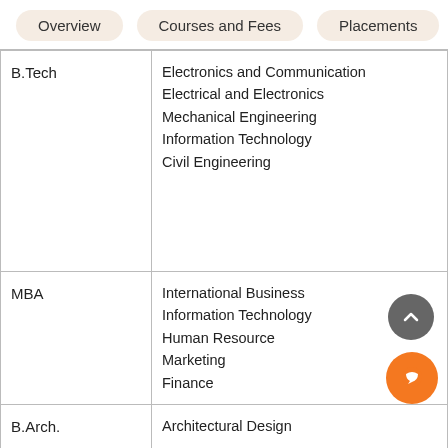Overview | Courses and Fees | Placements
| Degree | Specializations |
| --- | --- |
| B.Tech | Electronics and Communication
Electrical and Electronics
Mechanical Engineering
Information Technology
Civil Engineering |
| MBA | International Business
Information Technology
Human Resource
Marketing
Finance |
| B.Arch. | Architectural Design |
|  | Diploma in Mechanical Engi... |